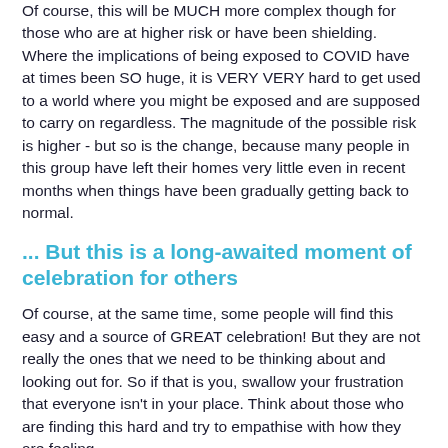Of course, this will be MUCH more complex though for those who are at higher risk or have been shielding. Where the implications of being exposed to COVID have at times been SO huge, it is VERY VERY hard to get used to a world where you might be exposed and are supposed to carry on regardless. The magnitude of the possible risk is higher - but so is the change, because many people in this group have left their homes very little even in recent months when things have been gradually getting back to normal.
... But this is a long-awaited moment of celebration for others
Of course, at the same time, some people will find this easy and a source of GREAT celebration! But they are not really the ones that we need to be thinking about and looking out for. So if that is you, swallow your frustration that everyone isn't in your place. Think about those who are finding this hard and try to empathise with how they are feeling.
A few thoughts and bits of advice for how to navigate this coming season - whatever your own